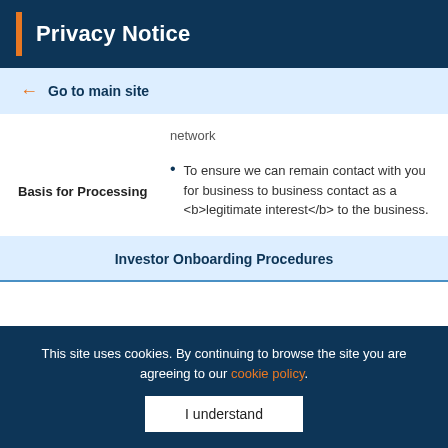Privacy Notice
← Go to main site
network
Basis for Processing
To ensure we can remain contact with you for business to business contact as a <b>legitimate interest</b> to the business.
Investor Onboarding Procedures
This site uses cookies. By continuing to browse the site you are agreeing to our cookie policy.
I understand